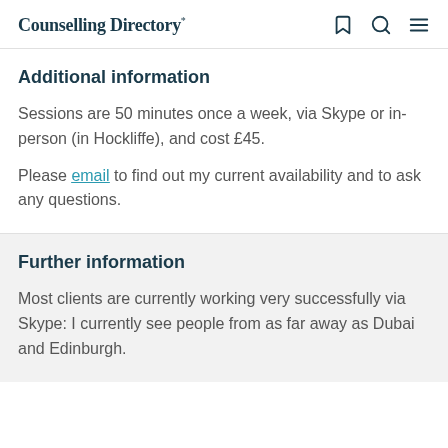Counselling Directory
Additional information
Sessions are 50 minutes once a week, via Skype or in-person (in Hockliffe), and cost £45.
Please email to find out my current availability and to ask any questions.
Further information
Most clients are currently working very successfully via Skype: I currently see people from as far away as Dubai and Edinburgh.